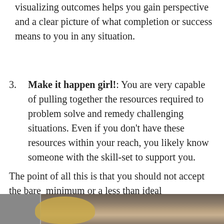visualizing outcomes helps you gain perspective and a clear picture of what completion or success means to you in any situation.
Make it happen girl!: You are very capable of pulling together the resources required to problem solve and remedy challenging situations. Even if you don't have these resources within your reach, you likely know someone with the skill-set to support you.
The point of all this is that you should not accept the bare  minimum or a less than ideal circumstance simply because that's what was handed to you to start with. You can and you absolutely should negotiate circumstances to align with your preferred experience.
[Figure (photo): Bottom portion of a photo showing a drawer or basket storage scene with woven basket visible]